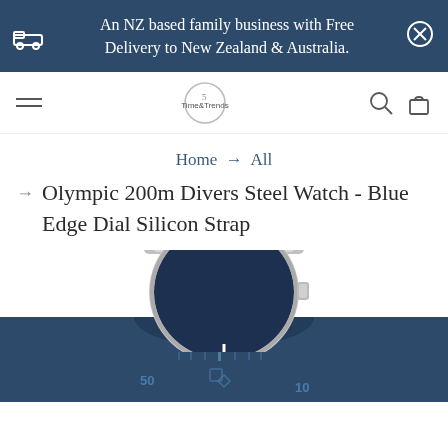An NZ based family business with Free Delivery to New Zealand & Australia.
[Figure (screenshot): Time & Trends logo with navigation bar including hamburger menu, search icon, and shopping bag icon]
Home → All
Olympic 200m Divers Steel Watch - Blue Edge Dial Silicon Strap
[Figure (photo): Navy blue silicon strap diver watch with steel case, partially visible showing top strap and case crown area, blue dial visible at bottom. Watch sits against white background above a dark navy blue panel.]